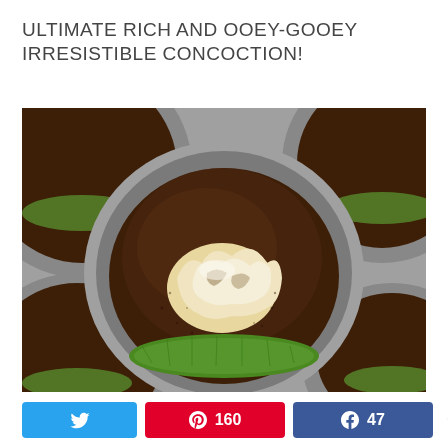ULTIMATE RICH AND OOEY-GOOEY IRRESISTIBLE CONCOCTION!
[Figure (photo): Chocolate cupcakes with cream cheese filling in a muffin tin with green paper liners, close-up view showing the ooey-gooey center of the center cupcake]
Twitter share button | Pinterest 160 shares | Facebook 47 shares | < 207 SHARES